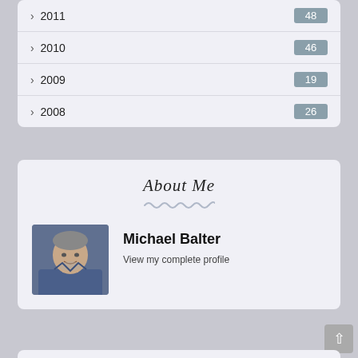› 2011  48
› 2010  46
› 2009  19
› 2008  26
About Me
[Figure (photo): Profile photo of Michael Balter, a man with grey hair wearing a blue jacket, smiling]
Michael Balter
View my complete profile